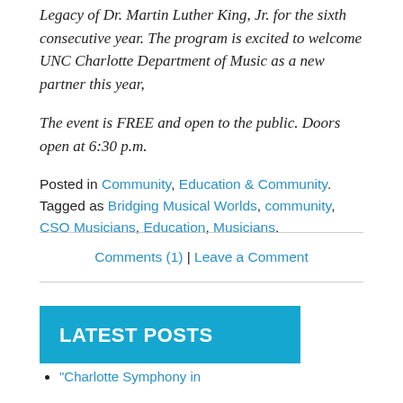Legacy of Dr. Martin Luther King, Jr. for the sixth consecutive year. The program is excited to welcome UNC Charlotte Department of Music as a new partner this year,
The event is FREE and open to the public. Doors open at 6:30 p.m.
Posted in Community, Education & Community. Tagged as Bridging Musical Worlds, community, CSO Musicians, Education, Musicians.
Comments (1) | Leave a Comment
LATEST POSTS
"Charlotte Symphony in